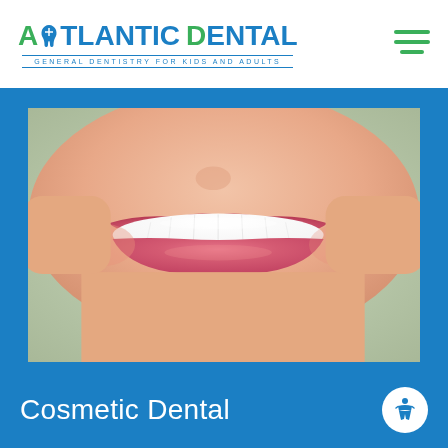[Figure (logo): Atlantic Dental logo with green and blue text, tooth icon, and tagline 'General Dentistry for Kids and Adults']
[Figure (photo): Close-up photo of a woman smiling with bright white teeth and pink lips, representing cosmetic dental services]
Cosmetic Dental